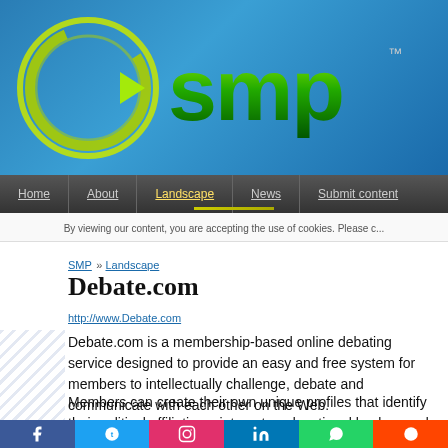[Figure (logo): SMP logo with green circular arrow and green 3D 'smp' text with TM mark on blue textured background]
Home | About | Landscape | News | Submit content
By viewing our content, you are accepting the use of cookies. Please c...
SMP » Landscape
Debate.com
http://www.Debate.com
Debate.com is a membership-based online debating service designed to provide an easy and free system for members to intellectually challenge, debate and communicate with each other on the Web.
Members can create their own unique profiles that identify their political affiliations, interests, educational background and opinions on hot topics and Debate.com's technology...